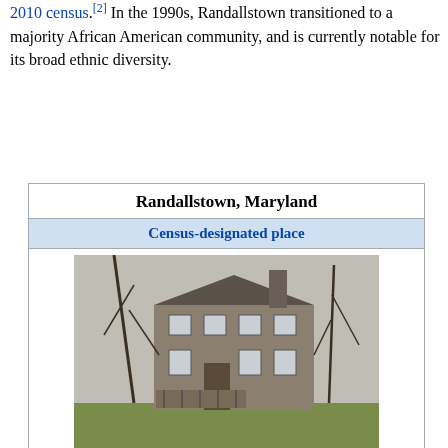2010 census.[2] In the 1990s, Randallstown transitioned to a majority African American community, and is currently notable for its broad ethnic diversity.
Randallstown, Maryland
Census-designated place
[Figure (photo): Historic Choate House in Randallstown — a two-story stone building with a porch, surrounded by bare winter trees.]
Historic Choate House in Randallstown.
[Figure (map): Two maps showing Randallstown's location: left map shows a local district outline in black-and-white; right map shows Maryland counties with Randallstown highlighted in orange-red within Baltimore County region.]